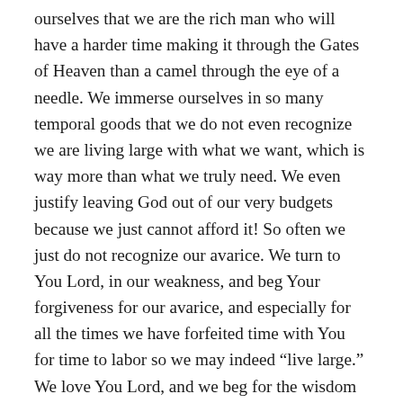ourselves that we are the rich man who will have a harder time making it through the Gates of Heaven than a camel through the eye of a needle. We immerse ourselves in so many temporal goods that we do not even recognize we are living large with what we want, which is way more than what we truly need. We even justify leaving God out of our very budgets because we just cannot afford it! So often we just do not recognize our avarice. We turn to You Lord, in our weakness, and beg Your forgiveness for our avarice, and especially for all the times we have forfeited time with You for time to labor so we may indeed “live large.” We love You Lord, and we beg for the wisdom and strength to love You more. We know, Lord, if You will it, it will be done. Trusting in You, we offer our prayer to You who live and reign forever and ever. Amen.